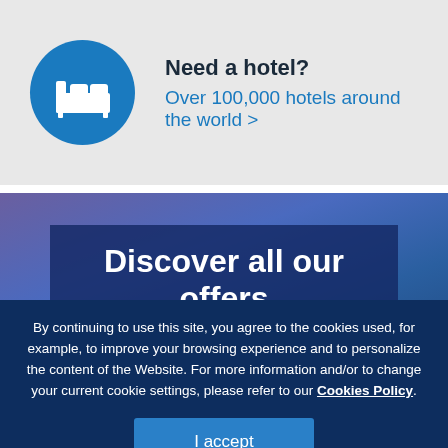[Figure (illustration): Blue circle with white hotel/bed icon]
Need a hotel?
Over 100,000 hotels around the world >
Discover all our offers
By continuing to use this site, you agree to the cookies used, for example, to improve your browsing experience and to personalize the content of the Website. For more information and/or to change your current cookie settings, please refer to our Cookies Policy.
I accept